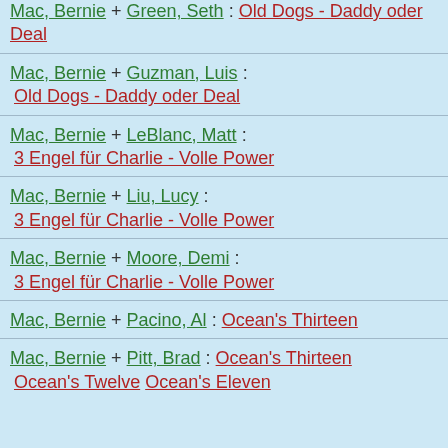Mac, Bernie + Green, Seth : Old Dogs - Daddy oder Deal
Mac, Bernie + Guzman, Luis : Old Dogs - Daddy oder Deal
Mac, Bernie + LeBlanc, Matt : 3 Engel für Charlie - Volle Power
Mac, Bernie + Liu, Lucy : 3 Engel für Charlie - Volle Power
Mac, Bernie + Moore, Demi : 3 Engel für Charlie - Volle Power
Mac, Bernie + Pacino, Al : Ocean's Thirteen
Mac, Bernie + Pitt, Brad : Ocean's Thirteen  Ocean's Twelve  Ocean's Eleven